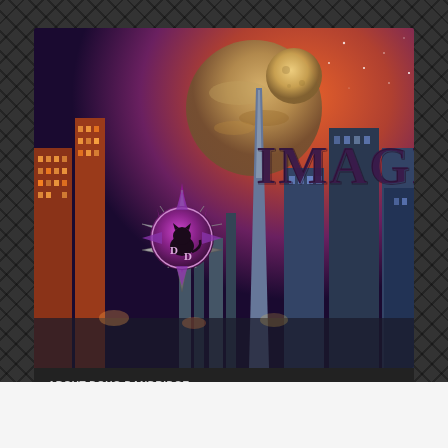[Figure (illustration): Website banner for Doug Dandridge's imagination/sci-fi blog. Features a futuristic cityscape with orange/purple sky, large moon/planet, and the DD logo (a purple compass star with a cat silhouette and 'DD' letters). The word 'IMAGI' (part of 'IMAGINATION') is visible in large dark purple serif letters on the right side.]
ABOUT DOUG DANDRIDGE   ANTHOLOGIES WITH OTHER WRITERS.   LINKS
Gray Rinehart
All posts tagged Gray Rinehart